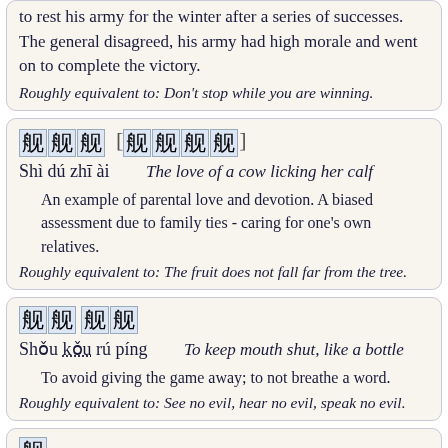to rest his army for the winter after a series of successes. The general disagreed, his army had high morale and went on to complete the victory.
Roughly equivalent to: Don't stop while you are winning.
舐犊之爱 [舐犊情深]
Shì dú zhī ài   The love of a cow licking her calf
An example of parental love and devotion. A biased assessment due to family ties - caring for one's own relatives.
Roughly equivalent to: The fruit does not fall far from the tree.
守口如瓶
Shǒu kǒu rú píng   To keep mouth shut, like a bottle
To avoid giving the game away; to not breathe a word.
Roughly equivalent to: See no evil, hear no evil, speak no evil.